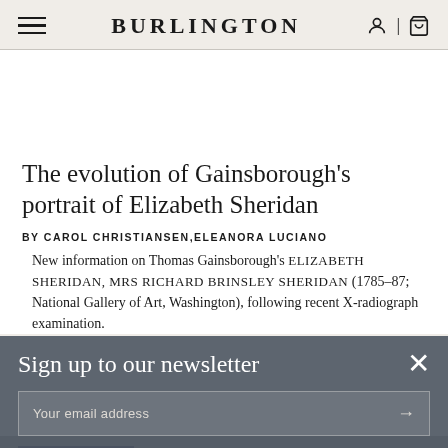BURLINGTON
The evolution of Gainsborough's portrait of Elizabeth Sheridan
BY CAROL CHRISTIANSEN,ELEANORA LUCIANO
New information on Thomas Gainsborough's ELIZABETH SHERIDAN, MRS RICHARD BRINSLEY SHERIDAN (1785–87; National Gallery of Art, Washington), following recent X-radiograph examination.
Sign up to our newsletter
Your email address
BUY PDF